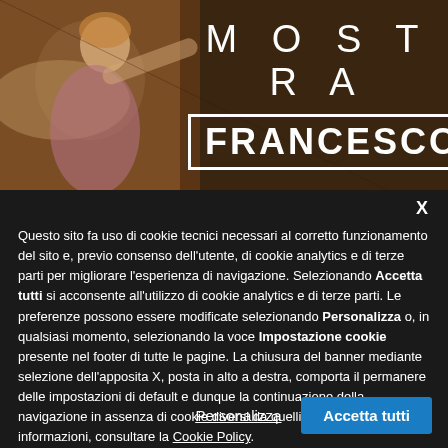[Figure (screenshot): Top portion of a webpage showing a decorative banner with a Renaissance-style fresco of an angel on the left and white text 'MOSTRA' in spaced letters and 'FRANCESCO' in a white-bordered box on the right, over a dark brown/warm background.]
X
Questo sito fa uso di cookie tecnici necessari al corretto funzionamento del sito e, previo consenso dell'utente, di cookie analytics e di terze parti per migliorare l'esperienza di navigazione. Selezionando Accetta tutti si acconsente all'utilizzo di cookie analytics e di terze parti. Le preferenze possono essere modificate selezionando Personalizza o, in qualsiasi momento, selezionando la voce Impostazione cookie presente nel footer di tutte le pagine. La chiusura del banner mediante selezione dell'apposita X, posta in alto a destra, comporta il permanere delle impostazioni di default e dunque la continuazione della navigazione in assenza di cookie diversi da quelli tecnici. Per maggiori informazioni, consultare la Cookie Policy.
Personalizza
Accetta tutti